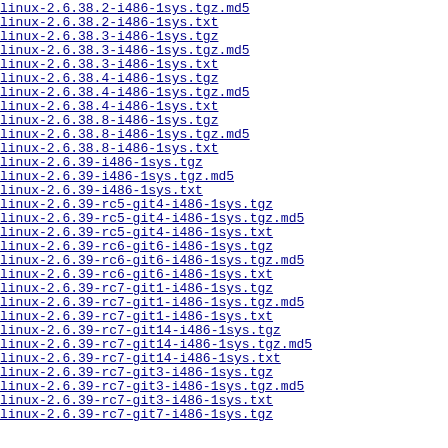linux-2.6.38.2-i486-1sys.tgz.md5  28-May
linux-2.6.38.2-i486-1sys.txt  28-May
linux-2.6.38.3-i486-1sys.tgz  15-Apr
linux-2.6.38.3-i486-1sys.tgz.md5  15-Apr
linux-2.6.38.3-i486-1sys.txt  15-Apr
linux-2.6.38.4-i486-1sys.tgz  22-Apr
linux-2.6.38.4-i486-1sys.tgz.md5  22-Apr
linux-2.6.38.4-i486-1sys.txt  22-Apr
linux-2.6.38.8-i486-1sys.tgz  06-Jun
linux-2.6.38.8-i486-1sys.tgz.md5  06-Jun
linux-2.6.38.8-i486-1sys.txt  06-Jun
linux-2.6.39-i486-1sys.tgz  19-May
linux-2.6.39-i486-1sys.tgz.md5  19-May
linux-2.6.39-i486-1sys.txt  19-May
linux-2.6.39-rc5-git4-i486-1sys.tgz  05-May
linux-2.6.39-rc5-git4-i486-1sys.tgz.md5  05-May
linux-2.6.39-rc5-git4-i486-1sys.txt  05-May
linux-2.6.39-rc6-git6-i486-1sys.tgz  08-May
linux-2.6.39-rc6-git6-i486-1sys.tgz.md5  08-May
linux-2.6.39-rc6-git6-i486-1sys.txt  08-May
linux-2.6.39-rc7-git1-i486-1sys.tgz  11-May
linux-2.6.39-rc7-git1-i486-1sys.tgz.md5  11-May
linux-2.6.39-rc7-git1-i486-1sys.txt  11-May
linux-2.6.39-rc7-git14-i486-1sys.tgz  19-May
linux-2.6.39-rc7-git14-i486-1sys.tgz.md5  19-May
linux-2.6.39-rc7-git14-i486-1sys.txt  19-May
linux-2.6.39-rc7-git3-i486-1sys.tgz  12-May
linux-2.6.39-rc7-git3-i486-1sys.tgz.md5  12-May
linux-2.6.39-rc7-git3-i486-1sys.txt  12-May
linux-2.6.39-rc7-git7-i486-1sys.tgz  14-May